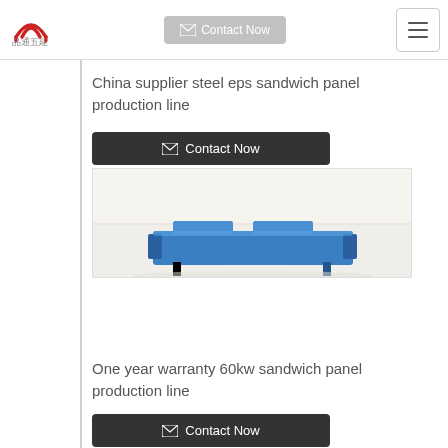Contact Now (nav bar with logo and hamburger menu)
China supplier steel eps sandwich panel production line
Contact Now
[Figure (photo): Photo of a blue industrial sandwich panel production line machine in a factory setting with white/cream background]
One year warranty 60kw sandwich panel production line
Contact Now